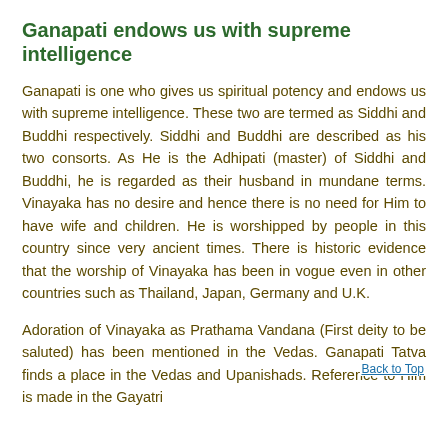Ganapati endows us with supreme intelligence
Ganapati is one who gives us spiritual potency and endows us with supreme intelligence. These two are termed as Siddhi and Buddhi respectively. Siddhi and Buddhi are described as his two consorts. As He is the Adhipati (master) of Siddhi and Buddhi, he is regarded as their husband in mundane terms. Vinayaka has no desire and hence there is no need for Him to have wife and children. He is worshipped by people in this country since very ancient times. There is historic evidence that the worship of Vinayaka has been in vogue even in other countries such as Thailand, Japan, Germany and U.K.
Adoration of Vinayaka as Prathama Vandana (First deity to be saluted) has been mentioned in the Vedas. Ganapati Tatva finds a place in the Vedas and Upanishads. Reference to Him is made in the Gayatri